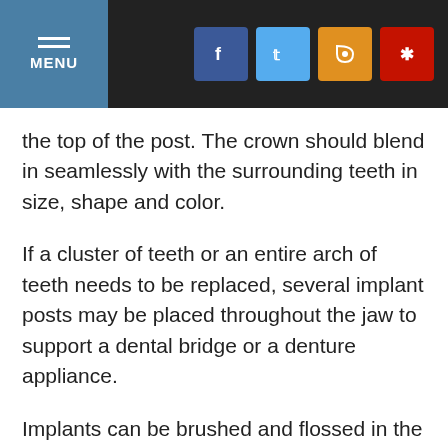MENU | Social media links (Facebook, Twitter, RSS, Yelp)
the top of the post. The crown should blend in seamlessly with the surrounding teeth in size, shape and color.
If a cluster of teeth or an entire arch of teeth needs to be replaced, several implant posts may be placed throughout the jaw to support a dental bridge or a denture appliance.
Implants can be brushed and flossed in the same manner as natural teeth. They should be checked by Dr. Kennedy every six months to ensure proper form and function. With the appropriate care and maintenance, implants can last indefinitely.